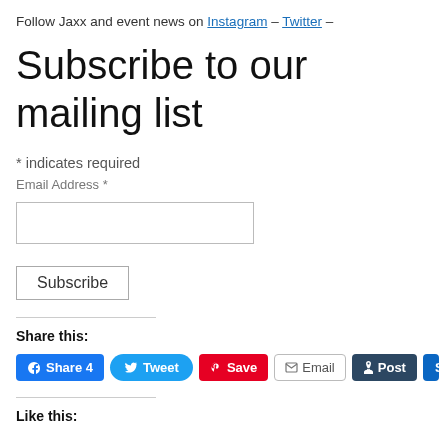Follow Jaxx and event news on Instagram – Twitter –
Subscribe to our mailing list
* indicates required
Email Address *
Subscribe
Share this:
Share 4  Tweet  Save  Email  Post  Sh...
Like this: